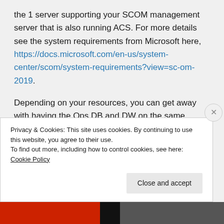the 1 server supporting your SCOM management server that is also running ACS. For more details see the system requirements from Microsoft here, https://docs.microsoft.com/en-us/system-center/scom/system-requirements?view=sc-om-2019.
Depending on your resources, you can get away with having the Ops DB and DW on the same server. I would recommend having two different instances for the DBs
Privacy & Cookies: This site uses cookies. By continuing to use this website, you agree to their use.
To find out more, including how to control cookies, see here: Cookie Policy